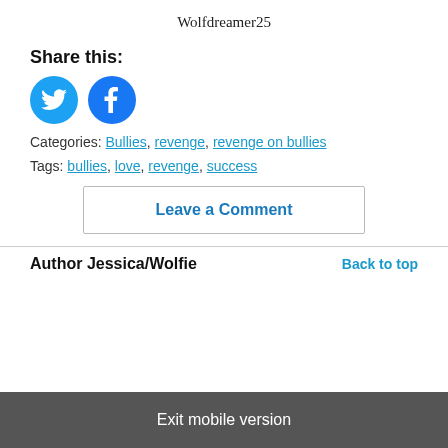Wolfdreamer25
Share this:
[Figure (illustration): Social media share buttons: Twitter (blue circle with bird icon) and Facebook (blue circle with f icon)]
Categories: Bullies, revenge, revenge on bullies
Tags: bullies, love, revenge, success
Leave a Comment
Author Jessica/Wolfie
Back to top
Exit mobile version